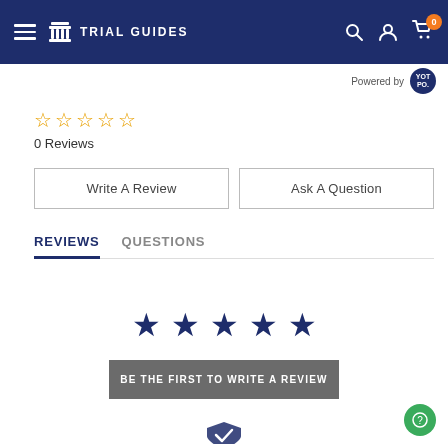Trial Guides — navigation bar with hamburger menu, logo, search, account, and cart icons
Powered by YOTPO
0 Reviews (5 empty stars)
Write A Review
Ask A Question
REVIEWS  QUESTIONS
[Figure (illustration): Five large dark navy filled star icons centered on the page]
BE THE FIRST TO WRITE A REVIEW
[Figure (illustration): Bottom partial shield/logo icon]